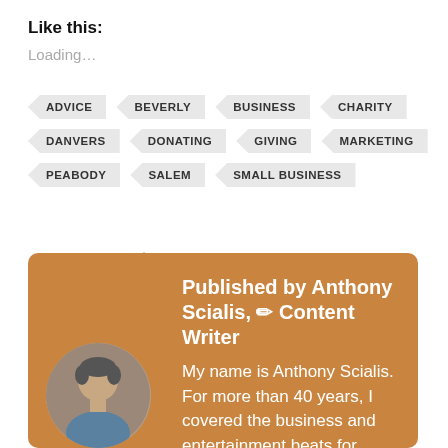Like this:
Loading...
ADVICE
BEVERLY
BUSINESS
CHARITY
DANVERS
DONATING
GIVING
MARKETING
PEABODY
SALEM
SMALL BUSINESS
Published by Anthony Scialis, ✏️ Content Writer
My name is Anthony Scialis. For more than 40 years, I covered the business and entertainment beats for community newspapers, magazines, and radio stations. Now, using a blog, I launch a 5-Star Content